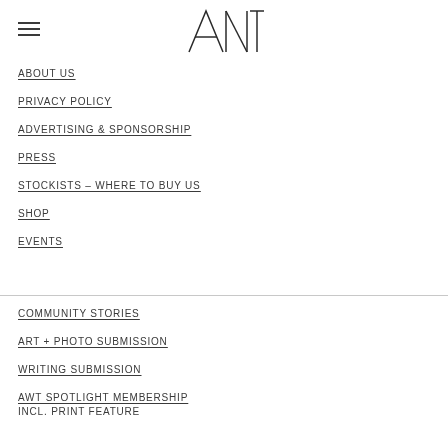[Figure (logo): ANT logo stylized letters]
ABOUT US
PRIVACY POLICY
ADVERTISING & SPONSORSHIP
PRESS
STOCKISTS – WHERE TO BUY US
SHOP
EVENTS
COMMUNITY STORIES
ART + PHOTO SUBMISSION
WRITING SUBMISSION
AWT SPOTLIGHT MEMBERSHIP INCL. PRINT FEATURE